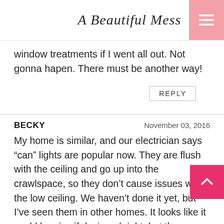A Beautiful Mess
window treatments if I went all out. Not gonna hapen. There must be another way!
REPLY
BECKY   November 03, 2016
My home is similar, and our electrician says “can” lights are popular now. They are flush with the ceiling and go up into the crawlspace, so they don’t cause issues with the low ceiling. We haven’t done it yet, but I’ve seen them in other homes. It looks like it could be nice if designed right, but the ones I’ve seen appear like the cans are just randomly placed and it looks chaotic, so I want to avoid that.